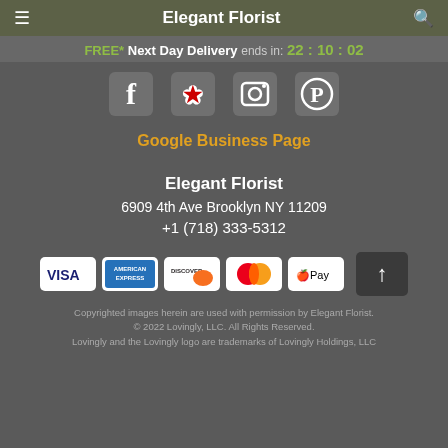Elegant Florist
FREE* Next Day Delivery ends in: 22:10:02
[Figure (other): Social media icons: Facebook, Yelp, Instagram, Pinterest]
Google Business Page
Elegant Florist
6909 4th Ave Brooklyn NY 11209
+1 (718) 333-5312
[Figure (other): Payment method logos: VISA, American Express, Discover, Mastercard, Apple Pay; scroll-to-top button]
Copyrighted images herein are used with permission by Elegant Florist.
© 2022 Lovingly, LLC. All Rights Reserved.
Lovingly and the Lovingly logo are trademarks of Lovingly Holdings, LLC